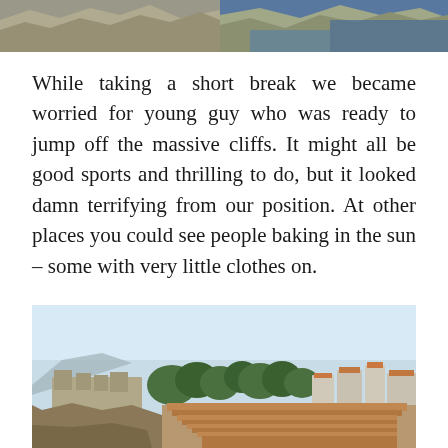[Figure (photo): Top portion of a photo showing rocky cliffs with blue sea water, partial view cropped at top of page]
While taking a short break we became worried for young guy who was ready to jump off the massive cliffs. It might all be good sports and thrilling to do, but it looked damn terrifying from our position. At other places you could see people baking in the sun – some with very little clothes on.
[Figure (photo): Aerial or elevated view of a coastal city with orange-roofed buildings, a fortress on rocky cliffs, trees, and pale blue sky — likely Dubrovnik, Croatia]